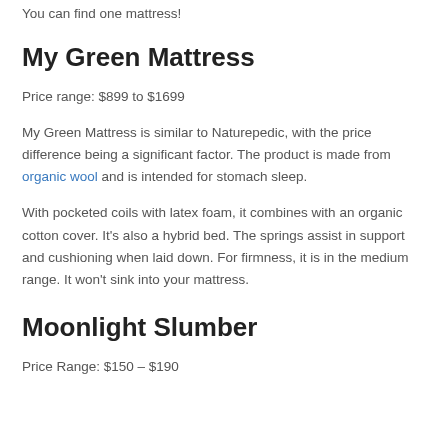You can find one mattress!
My Green Mattress
Price range: $899 to $1699
My Green Mattress is similar to Naturepedic, with the price difference being a significant factor. The product is made from organic wool and is intended for stomach sleep.
With pocketed coils with latex foam, it combines with an organic cotton cover. It's also a hybrid bed. The springs assist in support and cushioning when laid down. For firmness, it is in the medium range. It won't sink into your mattress.
Moonlight Slumber
Price Range: $150 – $190